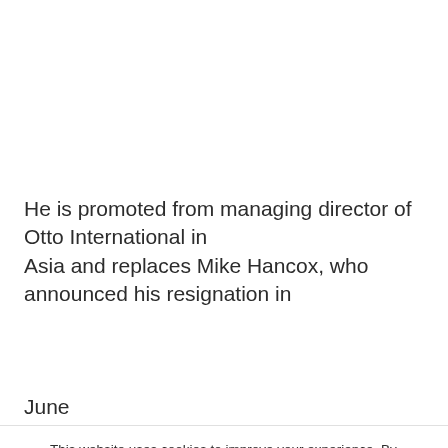He is promoted from managing director of Otto International in Asia and replaces Mike Hancox, who announced his resignation in June
This website uses cookies to improve your experience. By continuing to browse the site you are agreeing to our use of cookies. To find out more please read our privacy policy.